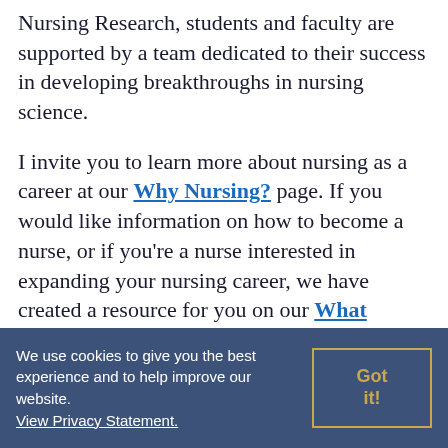Nursing Research, students and faculty are supported by a team dedicated to their success in developing breakthroughs in nursing science.
I invite you to learn more about nursing as a career at our Why Nursing? page. If you would like information on how to become a nurse, or if you're a nurse interested in expanding your nursing career, we have created a resource for you on our What Degree Should I Get? page. Knowledgeable academic advisers in our Office of Student Services are here to answer all of your questions. They may be reached by calling (330) 672-7911 or by email on our Contact Us page.
We use cookies to give you the best experience and to help improve our website. View Privacy Statement.